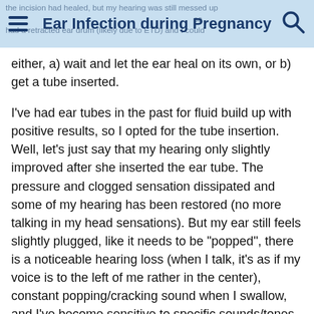Ear Infection during Pregnancy
either, a) wait and let the ear heal on its own, or b) get a tube inserted.
I've had ear tubes in the past for fluid build up with positive results, so I opted for the tube insertion. Well, let's just say that my hearing only slightly improved after she inserted the ear tube. The pressure and clogged sensation dissipated and some of my hearing has been restored (no more talking in my head sensations). But my ear still feels slightly plugged, like it needs to be "popped", there is a noticeable hearing loss (when I talk, it's as if my voice is to the left of me rather in the center), constant popping/cracking sound when I swallow, and I've become sensitive to specific sounds/tones. When the microwave is on, or my bathroom fan, my ear begins to hum loudly. Also, when I go out to